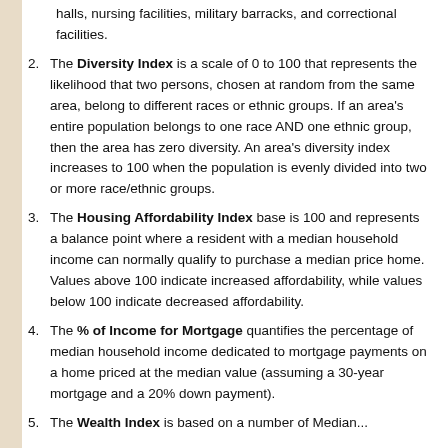halls, nursing facilities, military barracks, and correctional facilities.
2. The Diversity Index is a scale of 0 to 100 that represents the likelihood that two persons, chosen at random from the same area, belong to different races or ethnic groups. If an area’s entire population belongs to one race AND one ethnic group, then the area has zero diversity. An area’s diversity index increases to 100 when the population is evenly divided into two or more race/ethnic groups.
3. The Housing Affordability Index base is 100 and represents a balance point where a resident with a median household income can normally qualify to purchase a median price home. Values above 100 indicate increased affordability, while values below 100 indicate decreased affordability.
4. The % of Income for Mortgage quantifies the percentage of median household income dedicated to mortgage payments on a home priced at the median value (assuming a 30-year mortgage and a 20% down payment).
5. The Wealth Index...